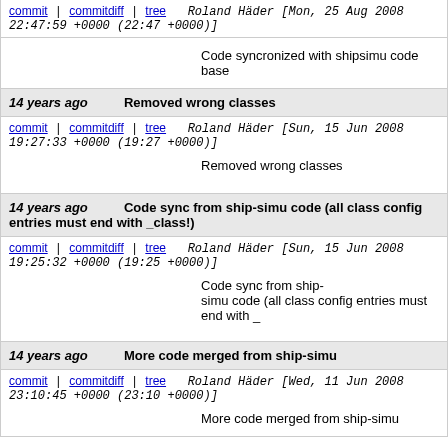commit | commitdiff | tree   Roland Häder [Mon, 25 Aug 2008 22:47:59 +0000 (22:47 +0000)]
Code syncronized with shipsimu code base
14 years ago   Removed wrong classes
commit | commitdiff | tree   Roland Häder [Sun, 15 Jun 2008 19:27:33 +0000 (19:27 +0000)]
Removed wrong classes
14 years ago   Code sync from ship-simu code (all class config entries must end with _class!)
commit | commitdiff | tree   Roland Häder [Sun, 15 Jun 2008 19:25:32 +0000 (19:25 +0000)]
Code sync from ship-simu code (all class config entries must end with _
14 years ago   More code merged from ship-simu
commit | commitdiff | tree   Roland Häder [Wed, 11 Jun 2008 23:10:45 +0000 (23:10 +0000)]
More code merged from ship-simu